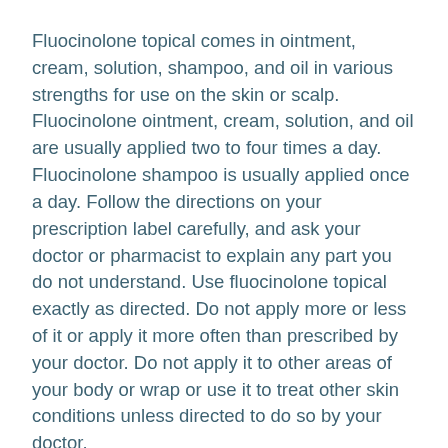Fluocinolone topical comes in ointment, cream, solution, shampoo, and oil in various strengths for use on the skin or scalp. Fluocinolone ointment, cream, solution, and oil are usually applied two to four times a day. Fluocinolone shampoo is usually applied once a day. Follow the directions on your prescription label carefully, and ask your doctor or pharmacist to explain any part you do not understand. Use fluocinolone topical exactly as directed. Do not apply more or less of it or apply it more often than prescribed by your doctor. Do not apply it to other areas of your body or wrap or use it to treat other skin conditions unless directed to do so by your doctor.
Your skin condition should improve during the first 2 weeks of your treatment. Call your doctor if your symptoms do not improve during this time.
To use fluocinolone topical, apply a small amount of the ointment, cream, solution, or oil to cover the